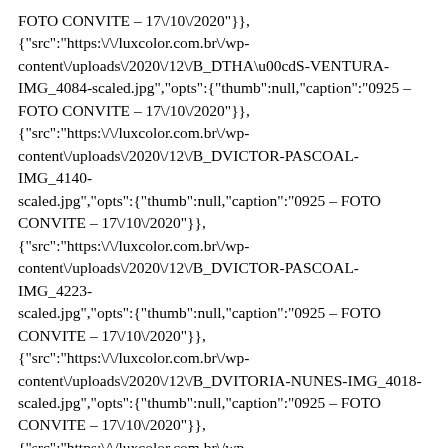FOTO CONVITE – 17\/10\/2020"}}, {"src":"https:\/\/luxcolor.com.br\/wp-content\/uploads\/2020\/12\/B_DTHA\u00cdS-VENTURA-IMG_4084-scaled.jpg","opts":{"thumb":null,"caption":"0925 – FOTO CONVITE – 17\/10\/2020"}}, {"src":"https:\/\/luxcolor.com.br\/wp-content\/uploads\/2020\/12\/B_DVICTOR-PASCOAL-IMG_4140-scaled.jpg","opts":{"thumb":null,"caption":"0925 – FOTO CONVITE – 17\/10\/2020"}}, {"src":"https:\/\/luxcolor.com.br\/wp-content\/uploads\/2020\/12\/B_DVICTOR-PASCOAL-IMG_4223-scaled.jpg","opts":{"thumb":null,"caption":"0925 – FOTO CONVITE – 17\/10\/2020"}}, {"src":"https:\/\/luxcolor.com.br\/wp-content\/uploads\/2020\/12\/B_DVITORIA-NUNES-IMG_4018-scaled.jpg","opts":{"thumb":null,"caption":"0925 – FOTO CONVITE – 17\/10\/2020"}}, {"src":"https:\/\/luxcolor.com.br\/wp-content\/uploads\/2020\/12\/B_DVITORIA-NUNES-IMG_4056-scaled.jpg","opts":{"thumb":null,"caption":"0925 – FOTO CONVITE – 17\/10\/2020"}}, {"src":"https:\/\/luxcolor.com.br\/wp-content\/uploads\/2020\/12\/B_DYANNE-PRADO-IMG_4023-scaled.jpg","opts":{"thumb":null,"caption":"0925 – FOTO CONVITE – 17\/10\/2020"}},